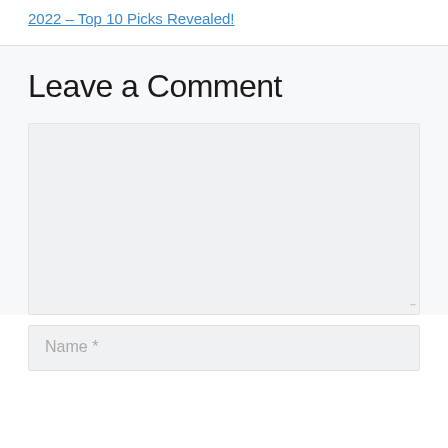2022 – Top 10 Picks Revealed!
Leave a Comment
Name *